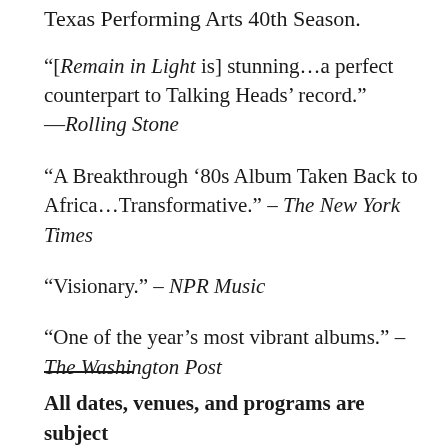Texas Performing Arts 40th Season.
“[Remain in Light is] stunning…a perfect counterpart to Talking Heads’ record.” —Rolling Stone
“A Breakthrough ’80s Album Taken Back to Africa…Transformative.” – The New York Times
“Visionary.” – NPR Music
“One of the year’s most vibrant albums.” – The Washington Post
All dates, venues, and programs are subject